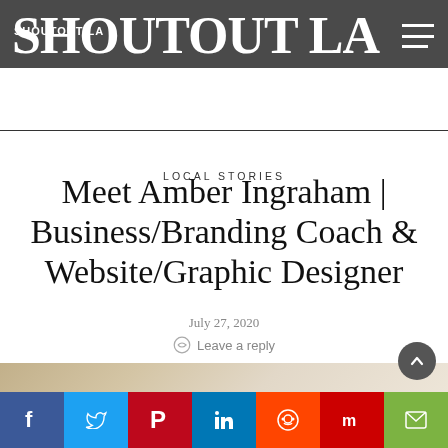SHOUTOUT LA
LOCAL STORIES
Meet Amber Ingraham | Business/Branding Coach & Website/Graphic Designer
July 27, 2020
Leave a reply
[Figure (photo): Blurred outdoor background photo, warm beige/tan tones, partial view of a person at bottom]
Social share bar: Facebook, Twitter, Pinterest, LinkedIn, Reddit, Mix, Email